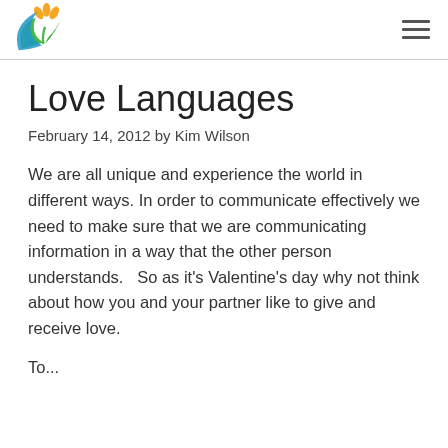Love Languages blog header with logo and navigation
Love Languages
February 14, 2012 by Kim Wilson
We are all unique and experience the world in different ways. In order to communicate effectively we need to make sure that we are communicating information in a way that the other person understands.   So as it's Valentine's day why not think about how you and your partner like to give and receive love.
To...